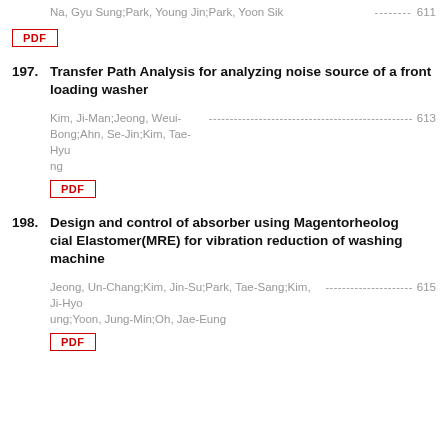Na, Gyu Sung;Park, Young Jin;Park, Yoon Sik -------- 611
[Figure (other): PDF button link]
197. Transfer Path Analysis for analyzing noise source of a front loading washer
Kim, Ji-Man;Jeong, Weui-Bong;Ahn, Se-Jin;Kim, Tae-Hyung ------------------------------------------------- 613
[Figure (other): PDF button link]
198. Design and control of absorber using Magentorheological Elastomer(MRE) for vibration reduction of washing machine
Jeong, Un-Chang;Kim, Jin-Su;Park, Tae-Sang;Kim, Ji-Hyoung;Yoon, Jung-Min;Oh, Jae-Eung --------------------- 615
[Figure (other): PDF button link]